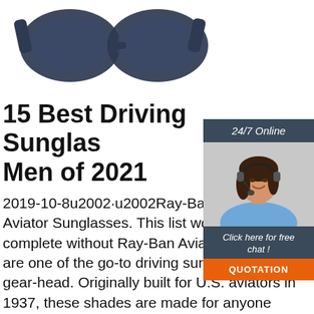[Figure (photo): Pair of dark navy/blue driving sunglasses viewed from above, partially cropped at top of page]
[Figure (infographic): 24/7 online chat widget with dark blue header reading '24/7 Online', photo of smiling woman with headset, dark blue footer with italic text 'Click here for free chat!', orange button with 'QUOTATION']
15 Best Driving Sunglasses for Men of 2021
2019-10-8u2002·u2002Ray-Ban RB3025 Aviator Sunglasses. This list wouldn't be complete without Ray-Ban Aviators, as they are one of the go-to driving sunglasses for any gear-head. Originally built for U.S. aviators in 1937, these shades are made for anyone driving a mean machine on the land, sea, or in the air. The iconic shades feature G-15 polarized lenses for...
[Figure (logo): TOP logo in orange with dots accent, bottom right area]